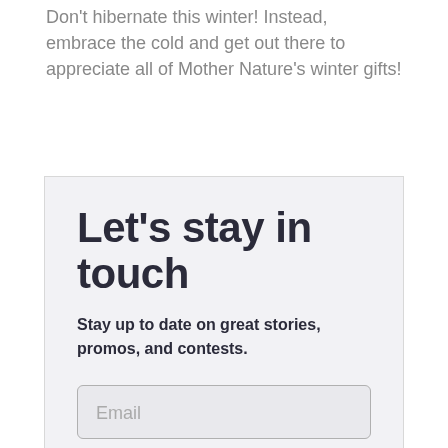Don't hibernate this winter! Instead, embrace the cold and get out there to appreciate all of Mother Nature's winter gifts!
Let's stay in touch
Stay up to date on great stories, promos, and contests.
Email
SIGN UP